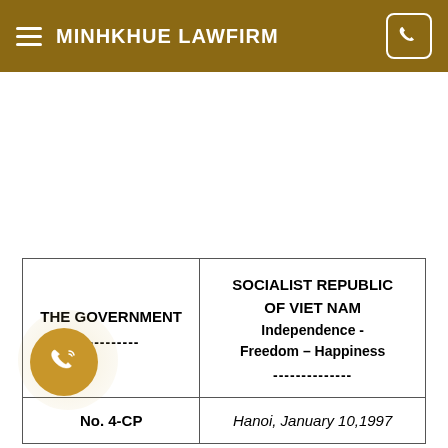MINHKHUE LAWFIRM
| THE GOVERNMENT
---------- | SOCIALIST REPUBLIC OF VIET NAM
Independence - Freedom – Happiness
-------------- |
| No. 4-CP | Hanoi, January 10,1997 |